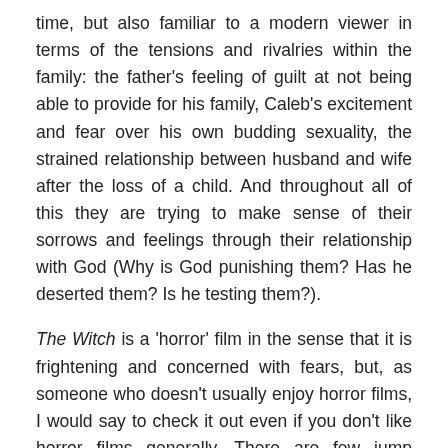time, but also familiar to a modern viewer in terms of the tensions and rivalries within the family: the father's feeling of guilt at not being able to provide for his family, Caleb's excitement and fear over his own budding sexuality, the strained relationship between husband and wife after the loss of a child. And throughout all of this they are trying to make sense of their sorrows and feelings through their relationship with God (Why is God punishing them? Has he deserted them? Is he testing them?).
The Witch is a 'horror' film in the sense that it is frightening and concerned with fears, but, as someone who doesn't usually enjoy horror films, I would say to check it out even if you don't like horror films generally. There are few jump scares, little to no body horror, and I did not find it particularly disturbing. It's not about a big scary monster. It's about all of those internal and external threats I described. So I'd recommend it even if you don't love horror films but want to see something eerie and atmospheric about the